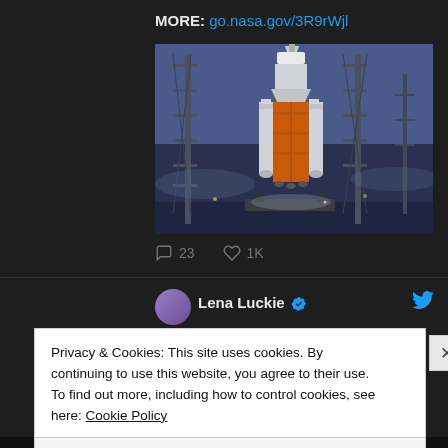MORE: go.nasa.gov/3R9rWjl
[Figure (photo): NASA Space Launch System (SLS) rocket on the launch pad at night/dusk with launch tower structures visible, rocket has distinctive orange-brown external tank]
23  1K
Lena Luckie
Privacy & Cookies: This site uses cookies. By continuing to use this website, you agree to their use.
To find out more, including how to control cookies, see here: Cookie Policy
Close and accept